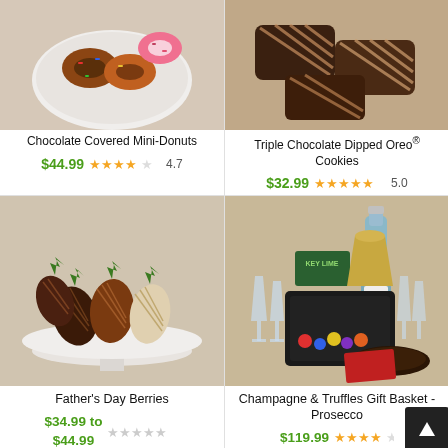[Figure (photo): Chocolate Covered Mini-Donuts on a white plate]
Chocolate Covered Mini-Donuts
$44.99  ★★★★☆ 4.7
[Figure (photo): Triple Chocolate Dipped Oreo Cookies]
Triple Chocolate Dipped Oreo® Cookies
$32.99  ★★★★★ 5.0
[Figure (photo): Father's Day Berries - chocolate covered strawberries on a cake stand]
Father's Day Berries
$34.99 to $44.99  ★★★★☆ (no rating number)
[Figure (photo): Champagne & Truffles Gift Basket - Prosecco with champagne glasses and chocolates]
Champagne & Truffles Gift Basket - Prosecco
$119.99  ★★★★☆